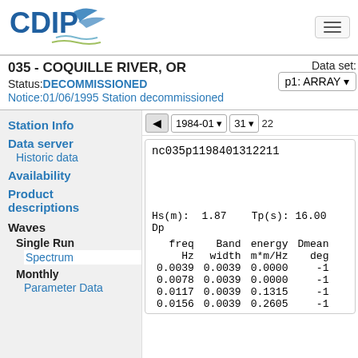[Figure (logo): CDIP logo with stylized bird/wave graphic]
035 - COQUILLE RIVER, OR
Status: DECOMMISSIONED
Notice:01/06/1995 Station decommissioned
Data set: p1: ARRAY
1984-01  31  22
Station Info
Data server
Historic data
Availability
Product descriptions
Waves
Single Run
Spectrum
Monthly
Parameter Data
nc035p1198401312211
Hs(m): 1.87    Tp(s): 16.00    Dp
| freq | Band width | energy m*m/Hz | Dmean deg |
| --- | --- | --- | --- |
| Hz | width | m*m/Hz | deg |
| 0.0039 | 0.0039 | 0.0000 | -1 |
| 0.0078 | 0.0039 | 0.0000 | -1 |
| 0.0117 | 0.0039 | 0.1315 | -1 |
| 0.0156 | 0.0039 | 0.2605 | -1 |